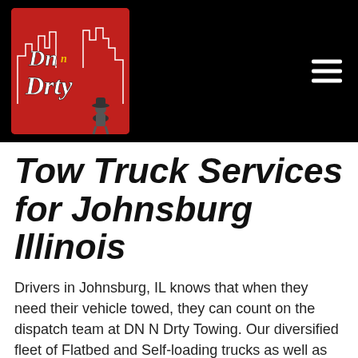[Figure (logo): DN N Drty towing company logo: red background with white city skyline outline and stylized cursive text 'Dn n Drty' in black/white with a small cowboy figure at bottom right]
Tow Truck Services for Johnsburg Illinois
Drivers in Johnsburg, IL knows that when they need their vehicle towed, they can count on the dispatch team at DN N Drty Towing. Our diversified fleet of Flatbed and Self-loading trucks as well as Medium